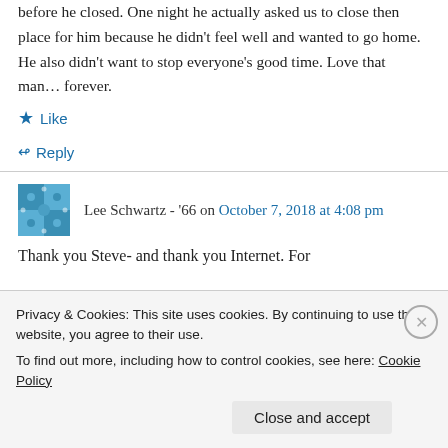before he closed. One night he actually asked us to close then place for him because he didn't feel well and wanted to go home. He also didn't want to stop everyone's good time. Love that man… forever.
★ Like
↪ Reply
Lee Schwartz - '66 on October 7, 2018 at 4:08 pm
Thank you Steve- and thank you Internet. For
Privacy & Cookies: This site uses cookies. By continuing to use this website, you agree to their use.
To find out more, including how to control cookies, see here: Cookie Policy